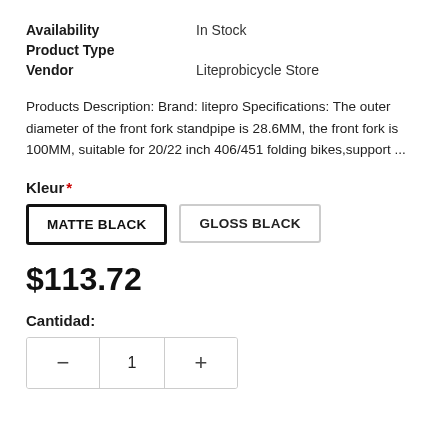Availability: In Stock
Product Type
Vendor: Liteprobicycle Store
Products Description: Brand: litepro Specifications: The outer diameter of the front fork standpipe is 28.6MM, the front fork is 100MM, suitable for 20/22 inch 406/451 folding bikes,support ...
Kleur *
MATTE BLACK
GLOSS BLACK
$113.72
Cantidad:
1